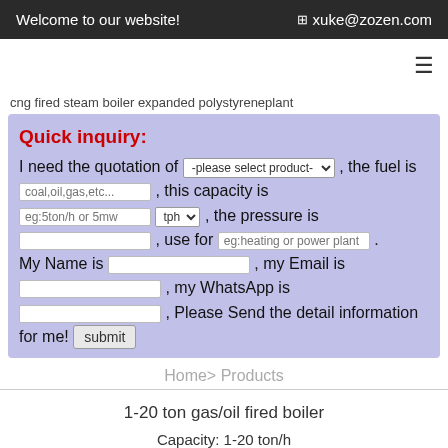Welcome to our website!  xuke@zozen.com
cng fired steam boiler expanded polystyreneplant
Quick inquiry: I need the quotation of -please select product-, the fuel is coal,oil,gas,etc..., this capacity is eg:5ton/h or 5mw tph, the pressure is , use for eg:heating or power plant . My Name is , my Email is , my WhatsApp is , Please Send the detail information for me! submit
Home> Products
1-20 ton gas/oil fired boiler
Capacity: 1-20 ton/h